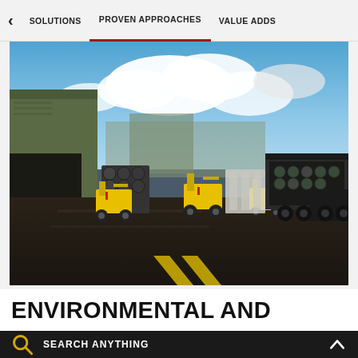< SOLUTIONS  PROVEN APPROACHES  VALUE ADDS
[Figure (photo): Warehouse/loading dock scene with yellow forklifts moving metal kegs/barrels on a wet concrete floor. A large truck trailer is parked on the right, a green industrial building is visible on the left, and cloudy blue sky is visible in the background.]
ENVIRONMENTAL AND
SEARCH ANYTHING